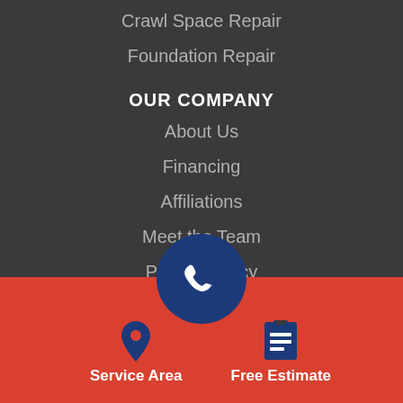Crawl Space Repair
Foundation Repair
OUR COMPANY
About Us
Financing
Affiliations
Meet the Team
Privacy Policy
Sitemap
OUR WORK
Service Area
Free Estimate